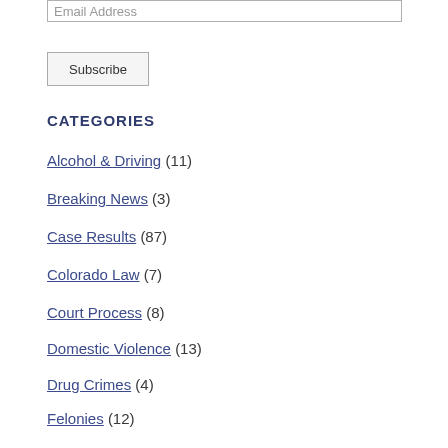Email Address
Subscribe
CATEGORIES
Alcohol & Driving (11)
Breaking News (3)
Case Results (87)
Colorado Law (7)
Court Process (8)
Domestic Violence (13)
Drug Crimes (4)
Felonies (12)
Frequently Asked Questions (15)
How to Deal with Cops (6)